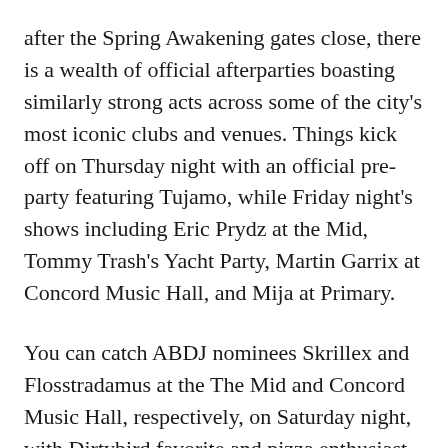after the Spring Awakening gates close, there is a wealth of official afterparties boasting similarly strong acts across some of the city's most iconic clubs and venues. Things kick off on Thursday night with an official pre-party featuring Tujamo, while Friday night's shows including Eric Prydz at the Mid, Tommy Trash's Yacht Party, Martin Garrix at Concord Music Hall, and Mija at Primary.
You can catch ABDJ nominees Skrillex and Flosstradamus at the The Mid and Concord Music Hall, respectively, on Saturday night, with Dirtybird favorite and pizza enthusiast Justin Martin slated to join Zeds Dead on